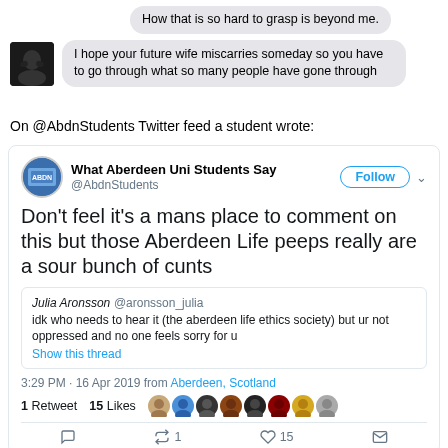How that is so hard to grasp is beyond me.
I hope your future wife miscarries someday so you have to go through what so many people have gone through
On @AbdnStudents Twitter feed a student wrote:
[Figure (screenshot): Twitter/X post by @AbdnStudents (What Aberdeen Uni Students Say) reading: Don't feel it's a mans place to comment on this but those Aberdeen Life peeps really are a sour bunch of cunts. Quoting Julia Aronsson @aronsson_julia: idk who needs to hear it (the aberdeen life ethics society) but ur not oppressed and no one feels sorry for u. Show this thread. 3:29 PM - 16 Apr 2019 from Aberdeen, Scotland. 1 Retweet 15 Likes.]